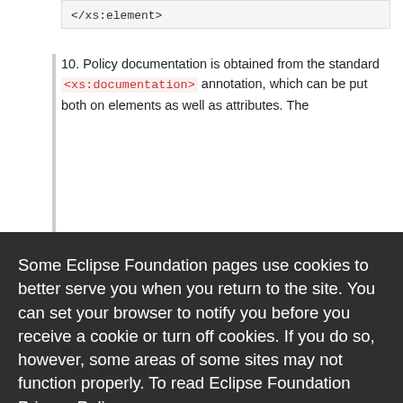</xs:element>
10. Policy documentation is obtained from the standard <xs:documentation> annotation, which can be put both on elements as well as attributes. The
Some Eclipse Foundation pages use cookies to better serve you when you return to the site. You can set your browser to notify you before you receive a cookie or turn off cookies. If you do so, however, some areas of some sites may not function properly. To read Eclipse Foundation Privacy Policy click here.
Decline
Allow cookies
er
t
<xs:annotation>